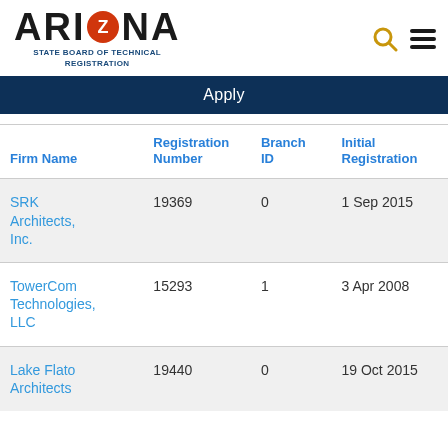ARIZONA STATE BOARD OF TECHNICAL REGISTRATION
Apply
| Firm Name | Registration Number | Branch ID | Initial Registration |
| --- | --- | --- | --- |
| SRK Architects, Inc. | 19369 | 0 | 1 Sep 2015 |
| TowerCom Technologies, LLC | 15293 | 1 | 3 Apr 2008 |
| Lake Flato Architects | 19440 | 0 | 19 Oct 2015 |